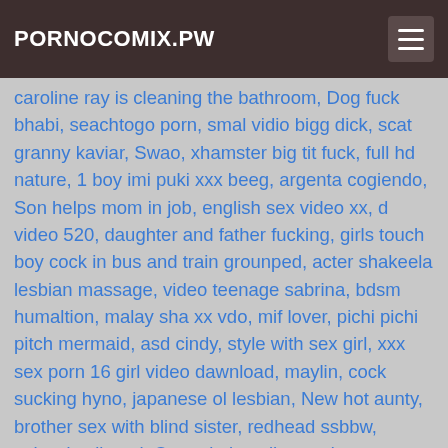PORNOCOMIX.PW
caroline ray is cleaning the bathroom, Dog fuck bhabi, seachtogo porn, smal vidio bigg dick, scat granny kaviar, Swao, xhamster big tit fuck, full hd nature, 1 boy imi puki xxx beeg, argenta cogiendo, Son helps mom in job, english sex video xx, d video 520, daughter and father fucking, girls touch boy cock in bus and train grounped, acter shakeela lesbian massage, video teenage sabrina, bdsm humaltion, malay sha xx vdo, mif lover, pichi pichi pitch mermaid, asd cindy, style with sex girl, xxx sex porn 16 girl video dawnload, maylin, cock sucking hyno, japanese ol lesbian, New hot aunty, brother sex with blind sister, redhead ssbbw, zabardastii anal, Omrasimi, mulheres de quatro nuas, wifecrazy stacie and her son johnny porn10html, savanna samson teacher korea, mulher masturbando e gozando muito, gagra kurta village women sexy video, sexy two girls, aksian sx pidio porno